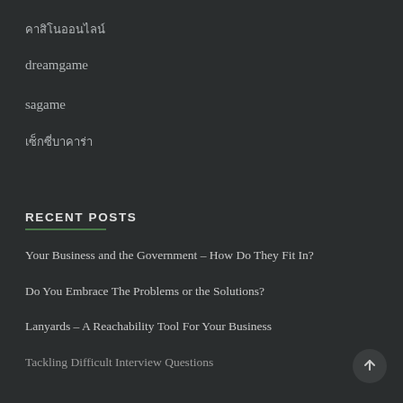คาสิโนออนไลน์
dreamgame
sagame
เซ็กซี่บาคาร่า
RECENT POSTS
Your Business and the Government – How Do They Fit In?
Do You Embrace The Problems or the Solutions?
Lanyards – A Reachability Tool For Your Business
Tackling Difficult Interview Questions